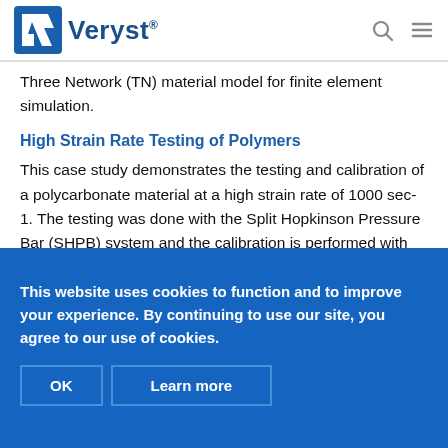Veryst
Three Network (TN) material model for finite element simulation.
High Strain Rate Testing of Polymers
This case study demonstrates the testing and calibration of a polycarbonate material at a high strain rate of 1000 sec-1. The testing was done with the Split Hopkinson Pressure Bar (SHPB) system and the calibration is performed with the MCalibration® software, originally
This website uses cookies to function and to improve your experience. By continuing to use our site, you agree to our use of cookies.